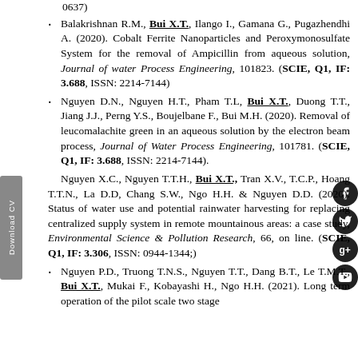0637)
Balakrishnan R.M., Bui X.T., Ilango I., Gamana G., Pugazhendhi A. (2020). Cobalt Ferrite Nanoparticles and Peroxymonosulfate System for the removal of Ampicillin from aqueous solution, Journal of water Process Engineering, 101823. (SCIE, Q1, IF: 3.688, ISSN: 2214-7144)
Nguyen D.N., Nguyen H.T., Pham T.L, Bui X.T., Duong T.T., Jiang J.J., Perng Y.S., Boujelbane F., Bui M.H. (2020). Removal of leucomalachite green in an aqueous solution by the electron beam process, Journal of Water Process Engineering, 101781. (SCIE, Q1, IF: 3.688, ISSN: 2214-7144).
Nguyen X.C., Nguyen T.T.H., Bui X.T., Tran X.V., T.C.P., Hoang T.T.N., La D.D, Chang S.W., Ngo H.H. & Nguyen D.D. (2020). Status of water use and potential rainwater harvesting for replacing centralized supply system in remote mountainous areas: a case study, Environmental Science & Pollution Research, 66, on line. (SCIE, Q1, IF: 3.306, ISSN: 0944-1344;)
Nguyen P.D., Truong T.N.S., Nguyen T.T., Dang B.T., Le T.M.T., Bui X.T., Mukai F., Kobayashi H., Ngo H.H. (2021). Long term operation of the pilot scale two stage